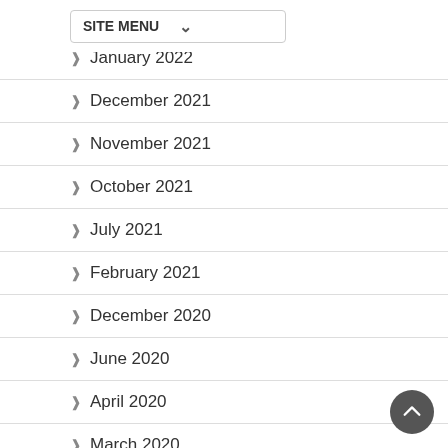March 2022
January 2022
December 2021
November 2021
October 2021
July 2021
February 2021
December 2020
June 2020
April 2020
March 2020
February 2020